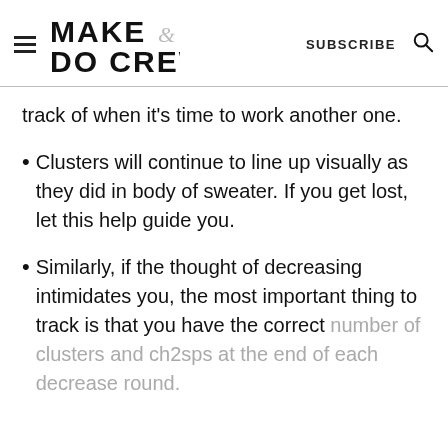MAKE & DO CREW | SUBSCRIBE
track of when it's time to work another one.
Clusters will continue to line up visually as they did in body of sweater. If you get lost, let this help guide you.
Similarly, if the thought of decreasing intimidates you, the most important thing to track is that you have the correct number of clusters and ch2sps at the end of each decrease round.